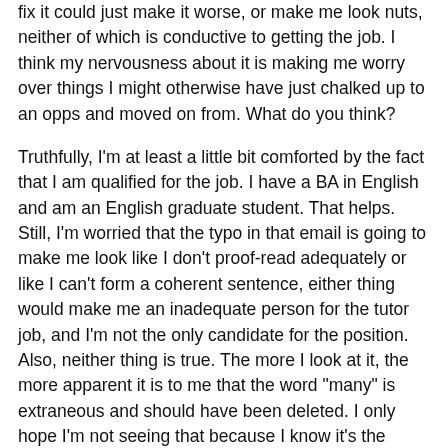fix it could just make it worse, or make me look nuts, neither of which is conductive to getting the job.  I think my nervousness about it is making me worry over things I might otherwise have just chalked up to an opps and moved on from.  What do you think?
Truthfully, I'm at least a little bit comforted by the fact that I am qualified for the job.  I have a BA in English and am an English graduate student.  That helps.  Still, I'm worried that the typo in that email is going to make me look like I don't proof-read adequately or like I can't form a coherent sentence, either thing would make me an inadequate person for the tutor job, and I'm not the only candidate for the position.  Also, neither thing is true.  The more I look at it, the more apparent it is to me that the word "many" is extraneous and should have been deleted.  I only hope I'm not seeing that because I know it's the case, but rather because it's obviously so.  I keep checking my email and worrying that she's going to change her mind about interviewing me because of it.  I'm so paranoid!  Anyway, wish me luck as I prepare for the interview which, again, is Monday afternoon.